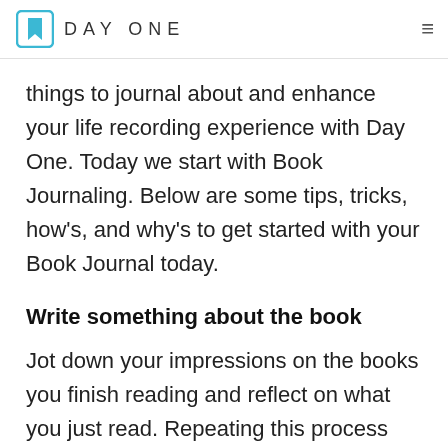DAY ONE
things to journal about and enhance your life recording experience with Day One. Today we start with Book Journaling. Below are some tips, tricks, how’s, and why’s to get started with your Book Journal today.
Write something about the book
Jot down your impressions on the books you finish reading and reflect on what you just read. Repeating this process every time you finish a book will give you invaluable insights